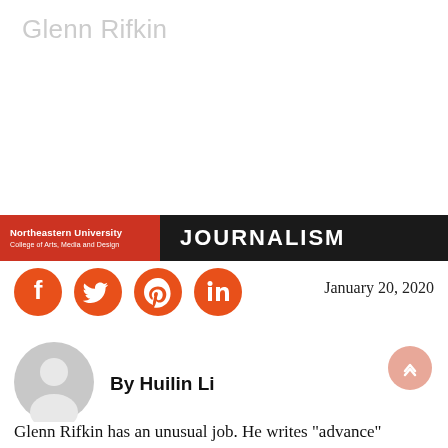Glenn Rifkin
“I love writing profiles of people.”
[Figure (logo): Northeastern University College of Arts, Media and Design red badge alongside JOURNALISM label on dark background]
[Figure (infographic): Four orange social media icons: Facebook, Twitter, Pinterest, LinkedIn]
January 20, 2020
[Figure (photo): Gray circular default author avatar icon]
By Huilin Li
Glenn Rifkin has an unusual job. He writes “advance”